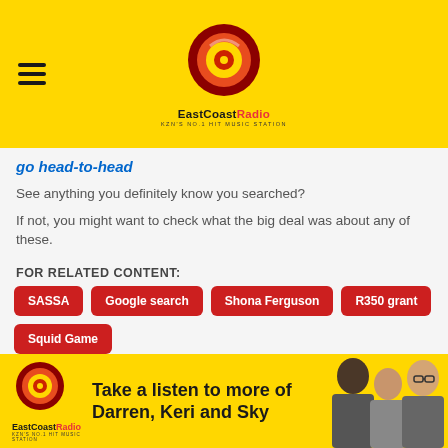[Figure (logo): EastCoast Radio logo with hamburger menu icon on yellow background. Logo shows circular red/orange swirl with 'EastCoast Radio' text and tagline 'KZN's No.1 Hit Music Station']
go head-to-head
See anything you definitely know you searched?
If not, you might want to check what the big deal was about any of these.
FOR RELATED CONTENT:
SASSA
Google search
Shona Ferguson
R350 grant
Squid Game
[Figure (illustration): EastCoast Radio advertisement banner on yellow background with logo, text 'Take a listen to more of Darren, Keri and Sky', and photo of three presenters]